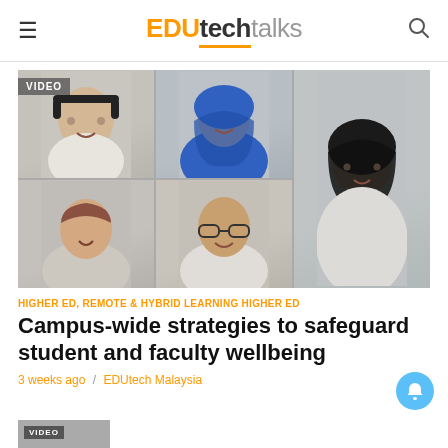EDUtech talks
[Figure (screenshot): Video thumbnail showing five participants in an online video call grid layout: a man with headphones and glasses (top-left), a woman in blue hijab with headset (top-center), a woman in hijab (top-right/spanning), a woman with short hair (bottom-left), a man with glasses (bottom-center). VIDEO badge visible in top-left corner.]
HIGHER ED, REMOTE & HYBRID LEARNING HIGHER ED
Campus-wide strategies to safeguard student and faculty wellbeing
3 weeks ago / EDUtech Malaysia